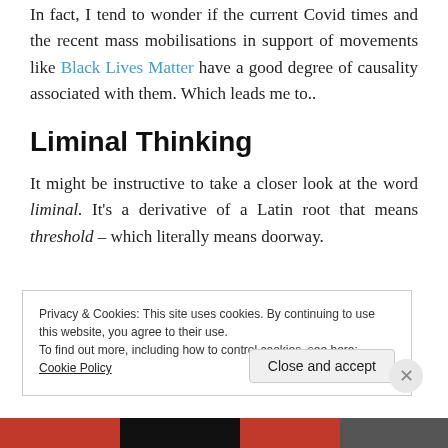In fact, I tend to wonder if the current Covid times and the recent mass mobilisations in support of movements like Black Lives Matter have a good degree of causality associated with them. Which leads me to..
Liminal Thinking
It might be instructive to take a closer look at the word liminal. It's a derivative of a Latin root that means threshold – which literally means doorway.
Privacy & Cookies: This site uses cookies. By continuing to use this website, you agree to their use.
To find out more, including how to control cookies, see here: Cookie Policy